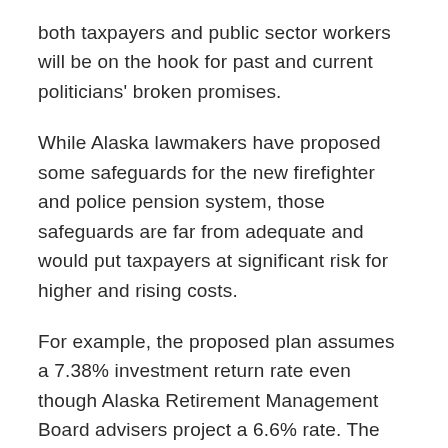both taxpayers and public sector workers will be on the hook for past and current politicians' broken promises.
While Alaska lawmakers have proposed some safeguards for the new firefighter and police pension system, those safeguards are far from adequate and would put taxpayers at significant risk for higher and rising costs.
For example, the proposed plan assumes a 7.38% investment return rate even though Alaska Retirement Management Board advisers project a 6.6% rate. The Reason Foundation's Pension Integrity Project estimated that under market stress (including two recessions over the next 30 years and a more realistic 6% average returns in other